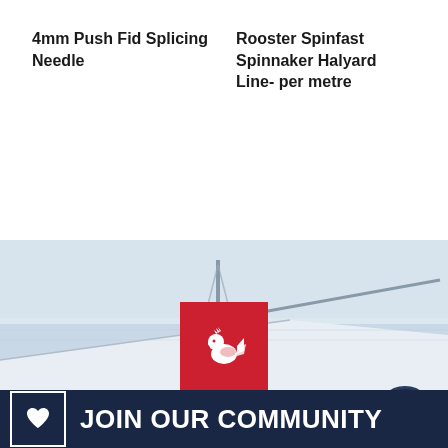4mm Push Fid Splicing Needle
Rooster Spinfast Spinnaker Halyard Line- per metre
[Figure (photo): Sailing boat with mast and rigging on water, with Rooster brand logo (red square with white bird) and a chat/community icon. Bottom banner reads JOIN OUR COMMUNITY on dark navy background.]
JOIN OUR COMMUNITY